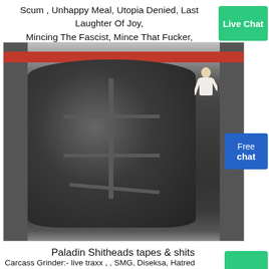Scum , Unhappy Meal, Utopia Denied, Last Laughter Of Joy, Mincing The Fascist, Mince That Fucker, Scenester Socialism, Trauma Mince, and.
[Figure (photo): Close-up photo of industrial machinery, showing a dark cylindrical component with a red band/strap at the top, metal fins or blades arranged in a cross pattern on the cylinder face, mounted in a metal frame structure. A person in white is partially visible on the right side.]
Paladin Shitheads tapes & shits
Carcass Grinder:- live traxx , , SMG, Diseksa, Hatred Division, , Paladin Shitheads tapes & shits blogspot.